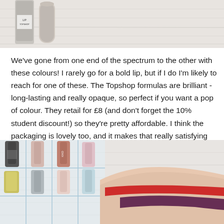[Figure (photo): Top portion of photo showing Topshop lip product bottles on a white wooden surface]
We've gone from one end of the spectrum to the other with these colours! I rarely go for a bold lip, but if I do I'm likely to reach for one of these. The Topshop formulas are brilliant - long-lasting and really opaque, so perfect if you want a pop of colour. They retail for £8 (and don't forget the 10% student discount!) so they're pretty affordable. I think the packaging is lovely too, and it makes that really satisfying magnetic 'click' noise when you put the top back on!
[Figure (photo): Photo of a hand with red and dark purple/plum lipstick swatches, with a clear acrylic nail polish organizer and various nail polishes in the background on a white wooden surface]